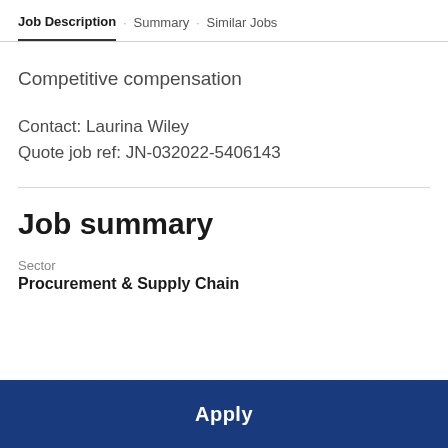Job Description · Summary · Similar Jobs
Competitive compensation
Contact: Laurina Wiley
Quote job ref: JN-032022-5406143
Job summary
Sector
Procurement & Supply Chain